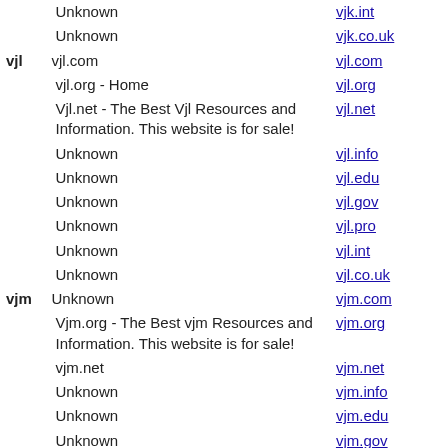Unknown | vjk.int
Unknown | vjk.co.uk
vjl | vjl.com | vjl.com
vjl.org - Home | vjl.org
Vjl.net - The Best Vjl Resources and Information. This website is for sale! | vjl.net
Unknown | vjl.info
Unknown | vjl.edu
Unknown | vjl.gov
Unknown | vjl.pro
Unknown | vjl.int
Unknown | vjl.co.uk
vjm | Unknown | vjm.com
Vjm.org - The Best vjm Resources and Information. This website is for sale! | vjm.org
vjm.net | vjm.net
Unknown | vjm.info
Unknown | vjm.edu
Unknown | vjm.gov
Unknown | vjm.pro
Unknown | vjm.int